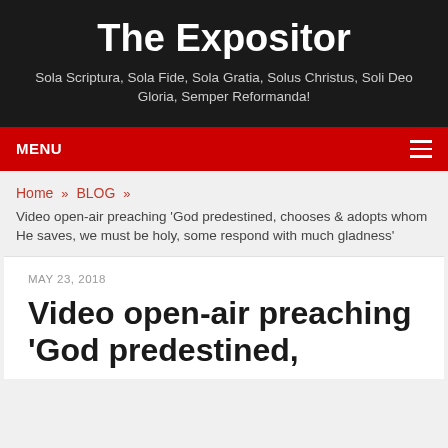The Expositor
Sola Scriptura, Sola Fide, Sola Gratia, Solus Christus, Soli Deo Gloria, Semper Reformanda!
MENU
Home » BLOG » Video open-air preaching 'God predestined, chooses & adopts whom He saves, we must be holy, some respond with much gladness'
MAY 23, 2018
Video open-air preaching 'God predestined,